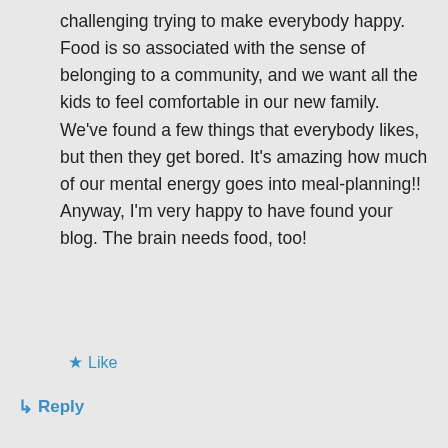challenging trying to make everybody happy. Food is so associated with the sense of belonging to a community, and we want all the kids to feel comfortable in our new family. We've found a few things that everybody likes, but then they get bored. It's amazing how much of our mental energy goes into meal-planning!! Anyway, I'm very happy to have found your blog. The brain needs food, too!
★ Like
↳ Reply